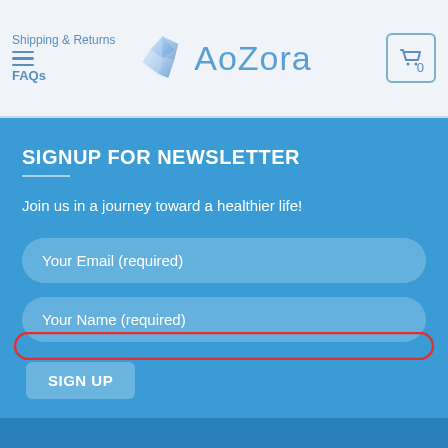Shipping & Returns | FAQs | Aozora | Cart (0)
SIGNUP FOR NEWSLETTER
Join us in a journey toward a healthier life!
Your Email (required)
Your Name (required)
SIGN UP
[Figure (screenshot): A red outlined empty rectangular bar/button element near the bottom of the sign-up form area]